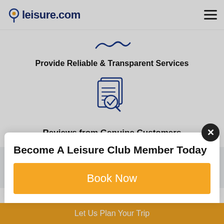leisure.com
[Figure (illustration): Decorative wave/swoosh icon in dark navy blue]
Provide Reliable & Transparent Services
[Figure (illustration): Document with magnifying glass and checkmark icon in dark navy blue outline style]
Reviews from Genuine Customers
Useful Links
About Us
Become A Leisure Club Member Today
Book Now
Let Us Plan Your Trip